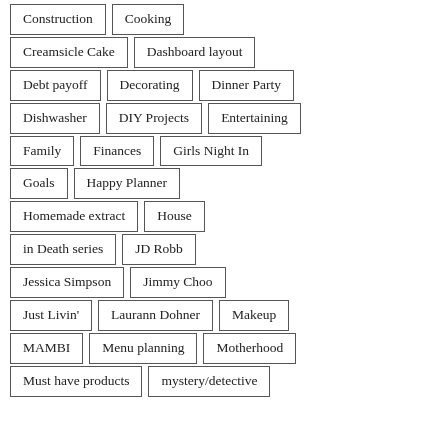Construction
Cooking
Creamsicle Cake
Dashboard layout
Debt payoff
Decorating
Dinner Party
Dishwasher
DIY Projects
Entertaining
Family
Finances
Girls Night In
Goals
Happy Planner
Homemade extract
House
in Death series
JD Robb
Jessica Simpson
Jimmy Choo
Just Livin'
Laurann Dohner
Makeup
MAMBI
Menu planning
Motherhood
Must have products
mystery/detective